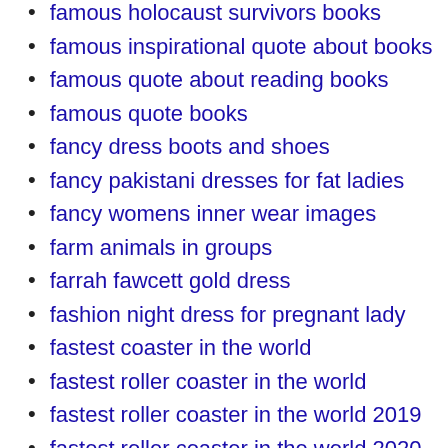famous holocaust survivors books
famous inspirational quote about books
famous quote about reading books
famous quote books
fancy dress boots and shoes
fancy pakistani dresses for fat ladies
fancy womens inner wear images
farm animals in groups
farrah fawcett gold dress
fashion night dress for pregnant lady
fastest coaster in the world
fastest roller coaster in the world
fastest roller coaster in the world 2019
fastest roller coaster in the world 2020
fastest roller coaster in the world abu dhabi